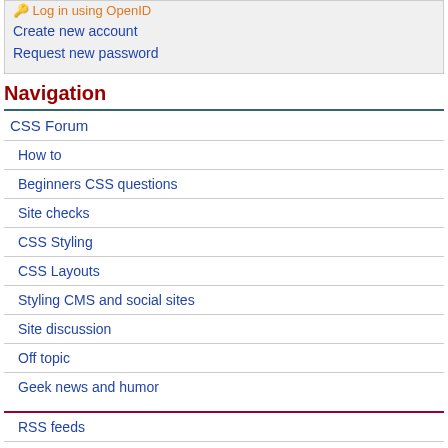Log in using OpenID
Create new account
Request new password
Navigation
CSS Forum
How to
Beginners CSS questions
Site checks
CSS Styling
CSS Layouts
Styling CMS and social sites
Site discussion
Off topic
Geek news and humor
RSS feeds
Rules & Privacy
CSS Properties & Selectors